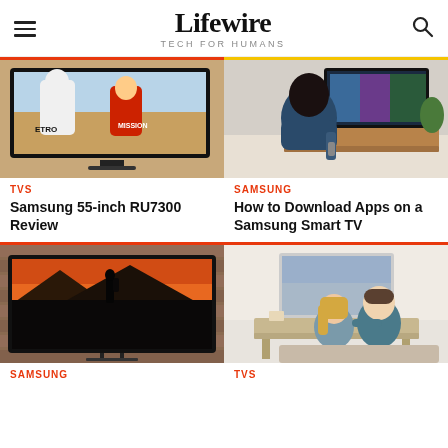Lifewire TECH FOR HUMANS
[Figure (photo): Samsung TV showing Formula 1 racing drivers on screen, on a wooden surface]
[Figure (photo): Person from behind sitting on couch, pointing remote at Samsung smart TV mounted on wall]
TVS
SAMSUNG
Samsung 55-inch RU7300 Review
How to Download Apps on a Samsung Smart TV
[Figure (photo): Samsung TV showing a person standing on a rocky outcrop at sunset with epic landscape]
[Figure (photo): Couple sitting together on couch watching TV mounted on wall in living room]
SAMSUNG
TVS